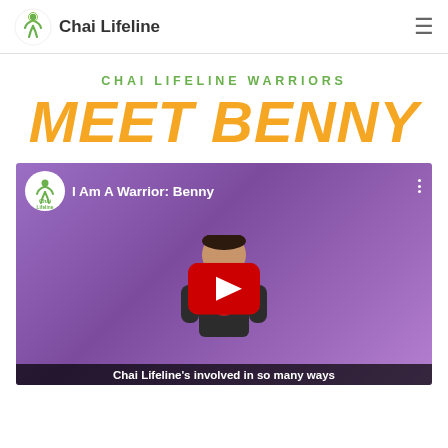Chai Lifeline
CHAI LIFELINE WARRIORS
MEET BENNY
[Figure (screenshot): YouTube video thumbnail showing a young boy against a purple background with title 'I Am A Warrior: Benny', YouTube play button overlay, Chai Lifeline logo and channel name in top left, three-dot menu in top right, and partial caption text at bottom reading 'Chai Lifeline's involved in so many ways']